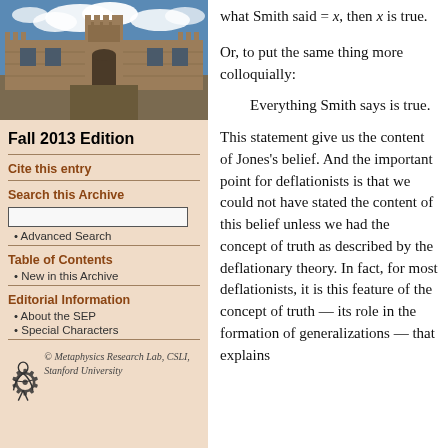[Figure (photo): Photograph of a historic stone university building with blue sky and clouds]
Fall 2013 Edition
Cite this entry
Search this Archive
Advanced Search
Table of Contents
New in this Archive
Editorial Information
About the SEP
Special Characters
© Metaphysics Research Lab, CSLI, Stanford University
what Smith said = x, then x is true.
Or, to put the same thing more colloquially:
Everything Smith says is true.
This statement give us the content of Jones's belief. And the important point for deflationists is that we could not have stated the content of this belief unless we had the concept of truth as described by the deflationary theory. In fact, for most deflationists, it is this feature of the concept of truth — its role in the formation of generalizations — that explains